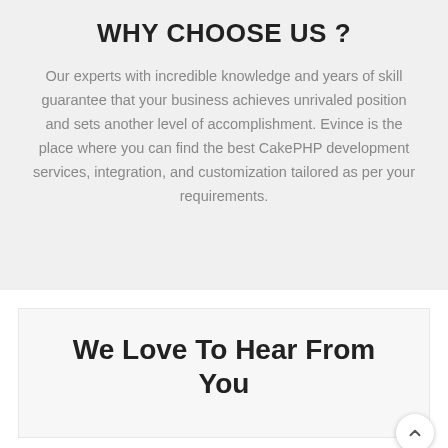WHY CHOOSE US ?
Our experts with incredible knowledge and years of skill guarantee that your business achieves unrivaled position and sets another level of accomplishment. Evince is the place where you can find the best CakePHP development services, integration, and customization tailored as per your requirements.
We Love To Hear From You